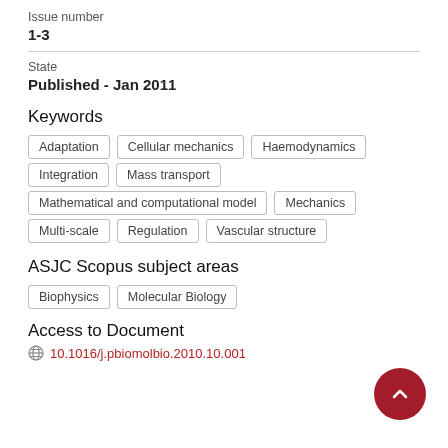Issue number
1-3
State
Published - Jan 2011
Keywords
Adaptation
Cellular mechanics
Haemodynamics
Integration
Mass transport
Mathematical and computational model
Mechanics
Multi-scale
Regulation
Vascular structure
ASJC Scopus subject areas
Biophysics
Molecular Biology
Access to Document
10.1016/j.pbiomolbio.2010.10.001